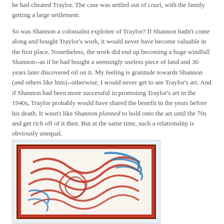he had cheated Traylor. The case was settled out of court, with the family getting a large settlement.
So was Shannon a colonialist exploiter of Traylor? If Shannon hadn't come along and bought Traylor's work, it would never have become valuable in the first place. Nonetheless, the work did end up becoming a huge windfall Shannon--as if he had bought a seemingly useless piece of land and 30 years later discovered oil on it. My feeling is gratitude towards Shannon (and others like him)--otherwise, I would never get to see Traylor's art. And if Shannon had been more successful in promoting Traylor's art in the 1940s, Traylor probably would have shared the benefit in the years before his death. It wasn't like Shannon planned to hold onto the art until the 70s and get rich off of it then. But at the same time, such a relationship is obviously unequal.
[Figure (photo): Framed artwork by Bill Traylor with swirling red and blue paint strokes on white background, in a dark reddish-brown frame, against a light blue background.]